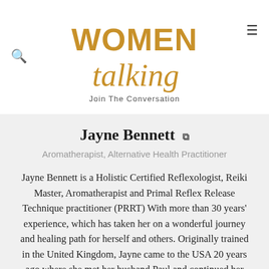WOMEN talking — Join The Conversation
Jayne Bennett
Aromatherapist, Alternative Health Practitioner
Jayne Bennett is a Holistic Certified Reflexologist, Reiki Master, Aromatherapist and Primal Reflex Release Technique practitioner (PRRT) With more than 30 years' experience, which has taken her on a wonderful journey and healing path for herself and others. Originally trained in the United Kingdom, Jayne came to the USA 20 years ago where she met her husband Paul and continued her education in Michigan attending college and reflexology